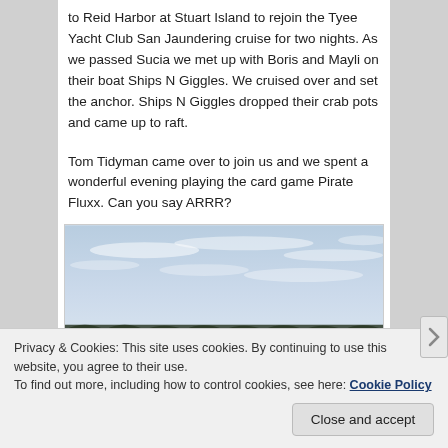to Reid Harbor at Stuart Island to rejoin the Tyee Yacht Club San Jaundering cruise for two nights. As we passed Sucia we met up with Boris and Mayli on their boat Ships N Giggles. We cruised over and set the anchor. Ships N Giggles dropped their crab pots and came up to raft.
Tom Tidyman came over to join us and we spent a wonderful evening playing the card game Pirate Fluxx. Can you say ARRR?
[Figure (photo): A photograph showing a pale blue sky with light clouds and a thin strip of dark treeline at the bottom edge.]
Privacy & Cookies: This site uses cookies. By continuing to use this website, you agree to their use.
To find out more, including how to control cookies, see here: Cookie Policy